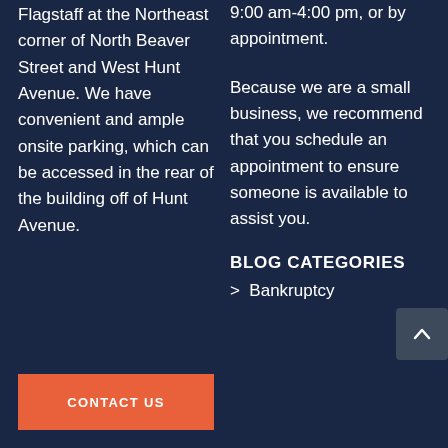Flagstaff at the Northeast corner of North Beaver Street and West Hunt Avenue. We have convenient and ample onsite parking, which can be accessed in the rear of the building off of Hunt Avenue.
9:00 am-4:00 pm, or by appointment.
Because we are a small business, we recommend that you schedule an appointment to ensure someone is available to assist you.
BLOG CATEGORIES
> Bankruptcy
CONTACT US